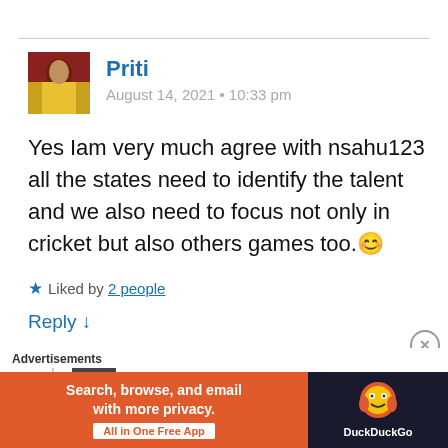Priti
August 14, 2021 • 10:33 pm
Yes Iam very much agree with nsahu123 all the states need to identify the talent and we also need to focus not only in cricket but also others games too. 😊
★ Liked by 2 people
Reply ↓
Advertisements
[Figure (screenshot): DuckDuckGo advertisement banner: orange background with text 'Search, browse, and email with more privacy. All in One Free App' and DuckDuckGo duck logo on dark background]